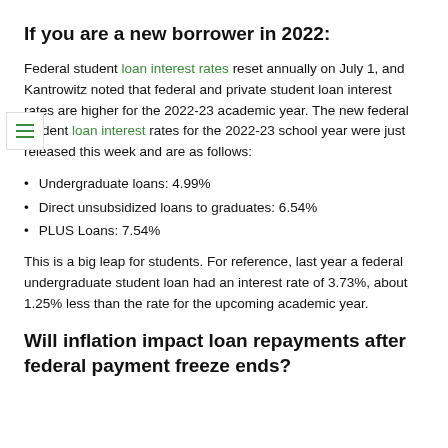If you are a new borrower in 2022:
Federal student loan interest rates reset annually on July 1, and Kantrowitz noted that federal and private student loan interest rates are higher for the 2022-23 academic year. The new federal student loan interest rates for the 2022-23 school year were just released this week and are as follows:
Undergraduate loans: 4.99%
Direct unsubsidized loans to graduates: 6.54%
PLUS Loans: 7.54%
This is a big leap for students. For reference, last year a federal undergraduate student loan had an interest rate of 3.73%, about 1.25% less than the rate for the upcoming academic year.
Will inflation impact loan repayments after federal payment freeze ends?